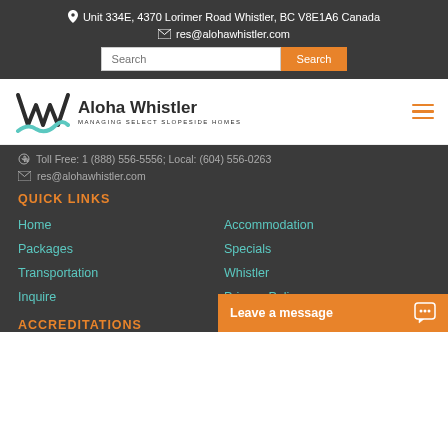Unit 334E, 4370 Lorimer Road Whistler, BC V8E1A6 Canada
res@alohawhistler.com
[Figure (logo): Aloha Whistler logo with stylized W and wave mark, text 'Aloha Whistler Managing Select Slopeside Homes']
Toll Free: 1 (888) 556-5556; Local: (604) 556-0263
res@alohawhistler.com
QUICK LINKS
Home
Accommodation
Packages
Specials
Transportation
Whistler
Inquire
Privacy Policy
ACCREDITATIONS
Leave a message